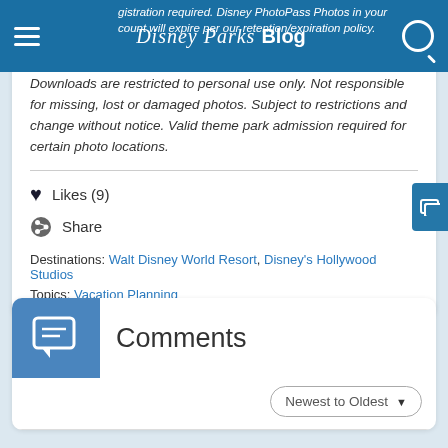Disney Parks Blog
registration required. Disney PhotoPass Photos in your account will expire per our retention/expiration policy. Downloads are restricted to personal use only. Not responsible for missing, lost or damaged photos. Subject to restrictions and change without notice. Valid theme park admission required for certain photo locations.
Likes (9)
Share
Destinations: Walt Disney World Resort, Disney's Hollywood Studios
Topics: Vacation Planning
Comments
Newest to Oldest